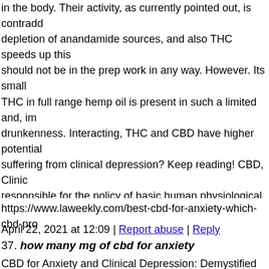in the body. Their activity, as currently pointed out, is contradicted by depletion of anandamide sources, and also THC speeds up this should not be in the prep work in any way. However. Its small THC in full range hemp oil is present in such a limited and, im drunkenness. Interacting, THC and CBD have higher potential suffering from clinical depression? Keep reading! CBD, Clinic responsible for the policy of basic human physiological proce mood as well as motivation, and also fat metabolic process. Th a neurotransmitter that is naturally generated in the human bra deal with the body (massage therapy!). Its sources are "made u wellness. As displayed in this research: https://www.ncbi.nlm.n developing psychotic signs. A high level of anandamide is add system is still not fully comprehended, yet it seems logical tha the synchronised lack of actions focused on its improvement, n develop into even more hazardous forms of disorders, e.g. psy be crucial in the effective treatment of mental illness of human
https://www.laweekly.com/best-cbd-for-anxiety-which-cbd-pr
April 22, 2021 at 12:09 | Report abuse | Reply
37. how many mg of cbd for anxiety
CBD for Anxiety and Clinical Depression: Demystified Imagin confirm to be the key to winning the defend a calmer life for p a significantly well-known and evaluated chemical compound